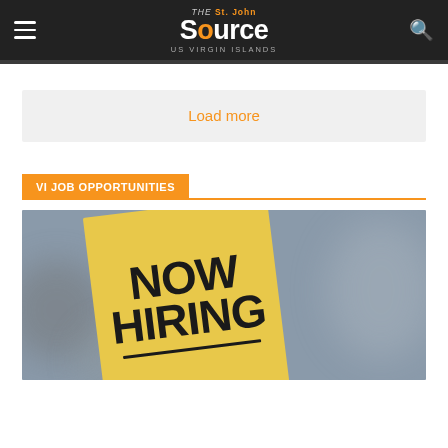The St. John Source — US Virgin Islands
Load more
VI JOB OPPORTUNITIES
[Figure (photo): A yellow sticky note with 'NOW HIRING' written in bold black marker text, placed against a blurred grey background.]